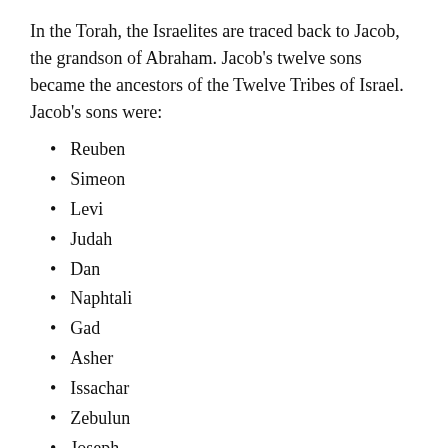In the Torah, the Israelites are traced back to Jacob, the grandson of Abraham. Jacob's twelve sons became the ancestors of the Twelve Tribes of Israel. Jacob's sons were:
Reuben
Simeon
Levi
Judah
Dan
Naphtali
Gad
Asher
Issachar
Zebulun
Joseph
Benjamin
According to the Bible, Leah was one of the two wives of Jacob, the other being Leah's sister Rachel. Jacob's